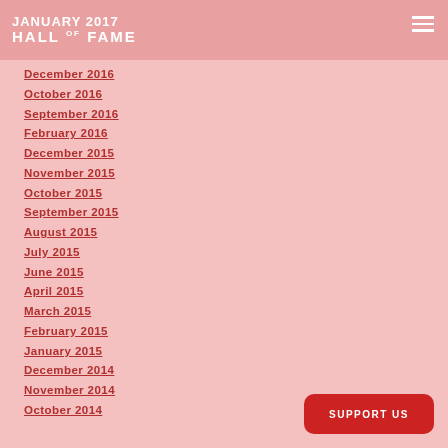Hall of Fame
January 2017
December 2016
October 2016
September 2016
February 2016
December 2015
November 2015
October 2015
September 2015
August 2015
July 2015
June 2015
April 2015
March 2015
February 2015
January 2015
December 2014
November 2014
October 2014
SUPPORT US